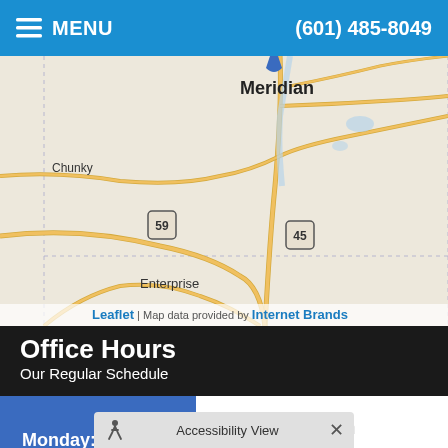MENU  (601) 485-8049
[Figure (map): Street map showing Meridian MS area with roads, highways 59 and 45, towns Chunky and Enterprise labeled, with Leaflet map attribution and Internet Brands data provider note.]
Leaflet | Map data provided by Internet Brands
Office Hours
Our Regular Schedule
| Day | Open | Close |
| --- | --- | --- |
| Monday: | 7:00am | 5:30pm |